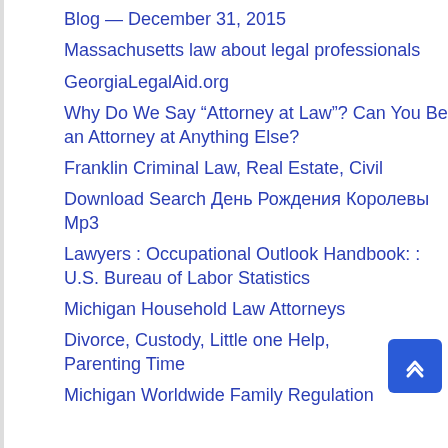Blog — December 31, 2015
Massachusetts law about legal professionals
GeorgiaLegalAid.org
Why Do We Say “Attorney at Law”? Can You Be an Attorney at Anything Else?
Franklin Criminal Law, Real Estate, Civil
Download Search День Рождения Королевы Mp3
Lawyers : Occupational Outlook Handbook: : U.S. Bureau of Labor Statistics
Michigan Household Law Attorneys
Divorce, Custody, Little one Help, Parenting Time
Michigan Worldwide Family Regulation